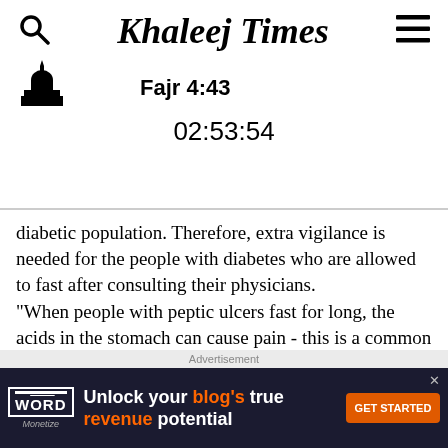Khaleej Times | Fajr 4:43 | 02:53:54
diabetic population. Therefore, extra vigilance is needed for the people with diabetes who are allowed to fast after consulting their physicians.
"When people with peptic ulcers fast for long, the acids in the stomach can cause pain - this is a common issue with such cases," he said, adding that the condition is not fatal and can be managed with right medical support and care.
A peptic ulcer is an open sore in the upper digestive tract. There are two types of peptic ulcers, a gastric ulcer, which forms in the lining of the stomach, and a duodenal ulcer, which forms in the upper part of the small intestine.
Advertisement
[Figure (other): Advertisement banner for Word Monetize: 'Unlock your blog's true revenue potential' with GET STARTED button]